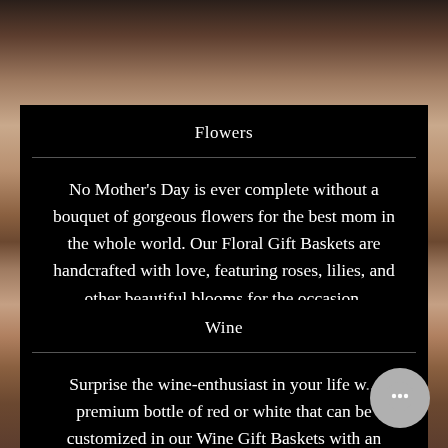[Figure (photo): Background photo of people, warm toned, blurred]
Flowers
No Mother's Day is ever complete without a bouquet of gorgeous flowers for the best mom in the whole world. Our Floral Gift Baskets are handcrafted with love, featuring roses, lilies, and other beautiful blooms for the occasion.
Wine
Surprise the wine-enthusiast in your life w... premium bottle of red or white that can be customized in our Wine Gift Baskets with an